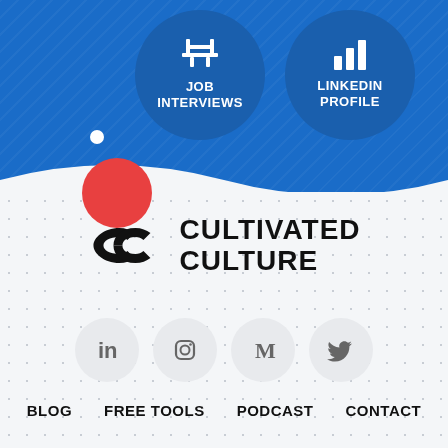[Figure (infographic): Top blue section of an infographic showing two circular buttons: JOB INTERVIEWS and LINKEDIN PROFILE with icons, on a blue striped background. A red circle and white dot decoration are visible on the left edge.]
[Figure (logo): Cultivated Culture logo — two interlocked C-shapes icon followed by text CULTIVATED CULTURE in bold uppercase black.]
[Figure (infographic): Four social media icon circles: LinkedIn (in), Instagram, Medium (M), Twitter (bird icon), all in gray on light gray circular backgrounds.]
BLOG   FREE TOOLS   PODCAST   CONTACT